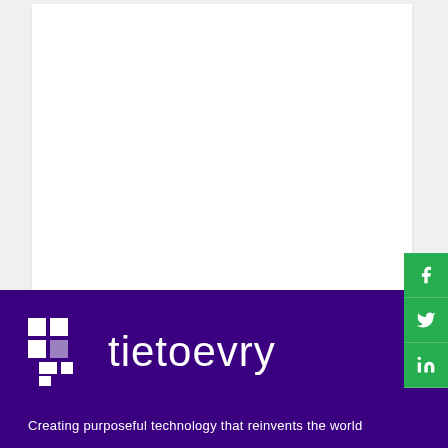[Figure (logo): Tietoevry company logo with pixel-art icon and wordmark on dark purple background footer]
Creating purposeful technology that reinvents the world